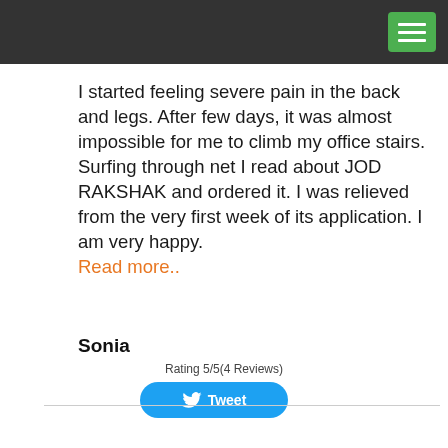[Figure (screenshot): Dark top navigation bar with green hamburger menu button in top right corner]
I started feeling severe pain in the back and legs. After few days, it was almost impossible for me to climb my office stairs. Surfing through net I read about JOD RAKSHAK and ordered it. I was relieved from the very first week of its application. I am very happy. Read more..
Sonia
Rating 5/5(4 Reviews)
[Figure (other): Twitter Tweet button in blue rounded rectangle]